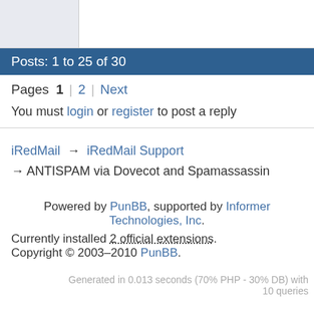Posts: 1 to 25 of 30
Pages  1  2  Next
You must login or register to post a reply
iRedMail → iRedMail Support → ANTISPAM via Dovecot and Spamassassin
Powered by PunBB, supported by Informer Technologies, Inc.
Currently installed 2 official extensions. Copyright © 2003–2010 PunBB.
Generated in 0.013 seconds (70% PHP - 30% DB) with 10 queries